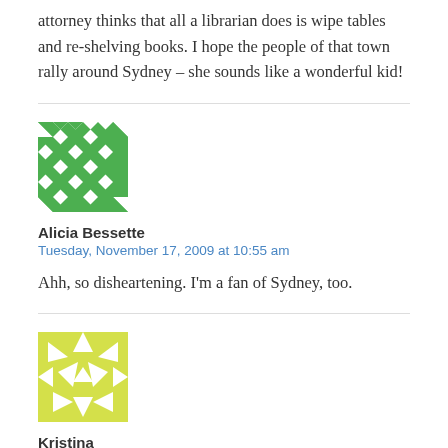attorney thinks that all a librarian does is wipe tables and re-shelving books. I hope the people of that town rally around Sydney – she sounds like a wonderful kid!
[Figure (illustration): Green and white geometric mosaic avatar image for Alicia Bessette]
Alicia Bessette
Tuesday, November 17, 2009 at 10:55 am
Ahh, so disheartening. I'm a fan of Sydney, too.
[Figure (illustration): Yellow and white geometric mosaic avatar image for Kristina]
Kristina
Tuesday, November 17, 2009 at 2:43 pm